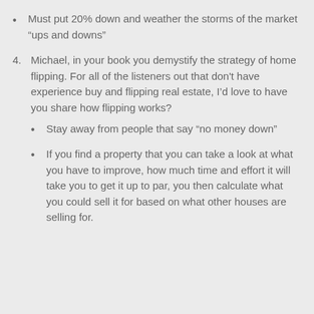Must put 20% down and weather the storms of the market “ups and downs”
4. Michael, in your book you demystify the strategy of home flipping. For all of the listeners out that don't have experience buy and flipping real estate, I’d love to have you share how flipping works?
Stay away from people that say “no money down”
If you find a property that you can take a look at what you have to improve, how much time and effort it will take you to get it up to par, you then calculate what you could sell it for based on what other houses are selling for.